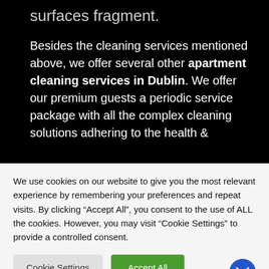surfaces fragment.
Besides the cleaning services mentioned above, we offer several other apartment cleaning services in Dublin. We offer our premium guests a periodic service package with all the complex cleaning solutions adhering to the health &
We use cookies on our website to give you the most relevant experience by remembering your preferences and repeat visits. By clicking “Accept All”, you consent to the use of ALL the cookies. However, you may visit “Cookie Settings” to provide a controlled consent.